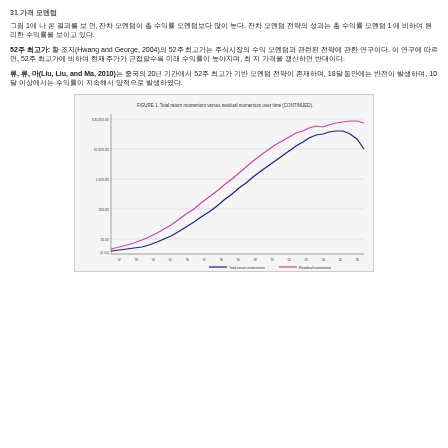31 [Korean text]
[Korean text paragraph about figure 1 and momentum strategies]
52주 최고가: 황 조지(Hwang and George, 2004)의 52주 최고가는 주식시장의 수익 모멘텀과 관련된 전략에 관한 연구이다. 이 연구에 따르면, 52주 최고가에 비하여 현재 주가가 근접할수록 미래 수익률이 높아지며, 최저 가격을 갱신하면 반대이다.
류, 류, 마(Liu, Liu, and Ma, 2010)는 중국의 20년 기간에서 52주 최고가 기반 모멘텀 전략이 존재하며, 18달 동안에는 반전이 발생하며, 10달 이상에서는 수익률이 지속해서 양적으로 발생하였다.
[Figure (line-chart): Line chart showing two lines (Total return momentum - blue/navy, Residual momentum - pink/magenta) growing over time on a logarithmic-like scale. Both lines trend upward from left to right. The pink line stays above the blue line throughout. Y-axis shows values from approximately -50 to 100,000. X-axis shows time periods.]